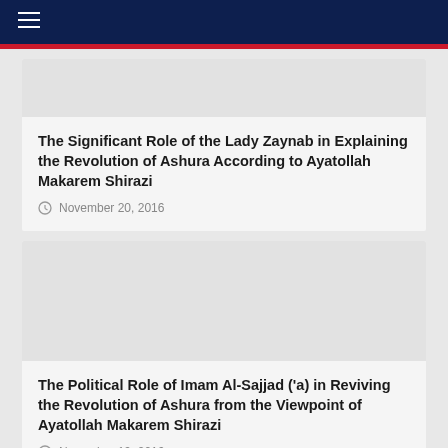The Significant Role of the Lady Zaynab in Explaining the Revolution of Ashura According to Ayatollah Makarem Shirazi
November 20, 2016
The Political Role of Imam Al-Sajjad ('a) in Reviving the Revolution of Ashura from the Viewpoint of Ayatollah Makarem Shirazi
November 19, 2016